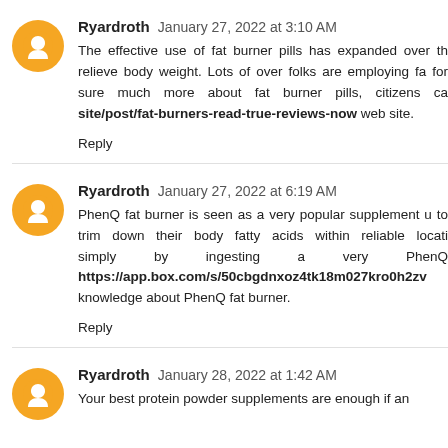Ryardroth January 27, 2022 at 3:10 AM
The effective use of fat burner pills has expanded over the relieve body weight. Lots of over folks are employing fa for sure much more about fat burner pills, citizens ca site/post/fat-burners-read-true-reviews-now web site.
Reply
Ryardroth January 27, 2022 at 6:19 AM
PhenQ fat burner is seen as a very popular supplement u to trim down their body fatty acids within reliable locati simply by ingesting a very PhenQ https://app.box.com/s/50cbgdnxoz4tk18m027kro0h2zv knowledge about PhenQ fat burner.
Reply
Ryardroth January 28, 2022 at 1:42 AM
Your best protein powder supplements are enough if an